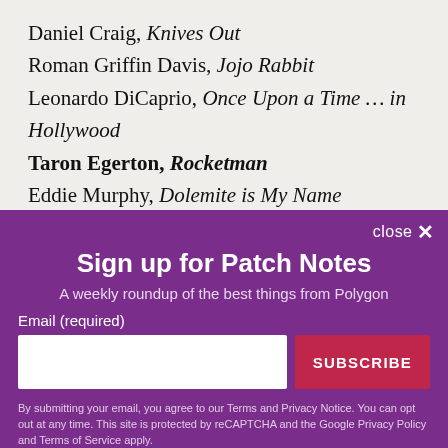Daniel Craig, Knives Out
Roman Griffin Davis, Jojo Rabbit
Leonardo DiCaprio, Once Upon a Time … in Hollywood
Taron Egerton, Rocketman
Eddie Murphy, Dolemite is My Name
Sign up for Patch Notes
A weekly roundup of the best things from Polygon
Email (required)
SUBSCRIBE
By submitting your email, you agree to our Terms and Privacy Notice. You can opt out at any time. This site is protected by reCAPTCHA and the Google Privacy Policy and Terms of Service apply.